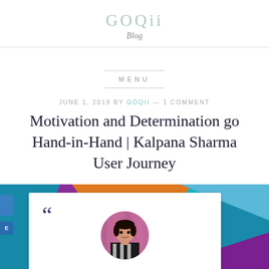GOQii
Blog
MENU
JUNE 1, 2019 BY GOQII — 1 COMMENT
Motivation and Determination go Hand-in-Hand | Kalpana Sharma User Journey
[Figure (photo): Colorful geometric background with white card overlay featuring a quotation mark and circular profile photo of a woman (Kalpana Sharma) wearing a black and white striped outfit against a pink/purple curtain background.]